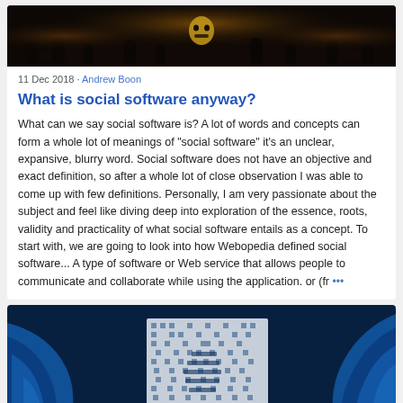[Figure (photo): Dark atmospheric photo showing a crowd or audience in a dimly lit venue with warm orange/yellow lighting, silhouettes visible]
11 Dec 2018 · Andrew Boon
What is social software anyway?
What can we say social software is? A lot of words and concepts can form a whole lot of meanings of "social software" it's an unclear, expansive, blurry word. Social software does not have an objective and exact definition, so after a whole lot of close observation I was able to come up with few definitions. Personally, I am very passionate about the subject and feel like diving deep into exploration of the essence, roots, validity and practicality of what social software entails as a concept. To start with, we are going to look into how Webopedia defined social software... A type of software or Web service that allows people to communicate and collaborate while using the application. or (fr ···
[Figure (photo): Blue digital fingerprint or digital identity concept image, showing a fingerprint pattern with a pixelated/digital overlay in blue and white tones]